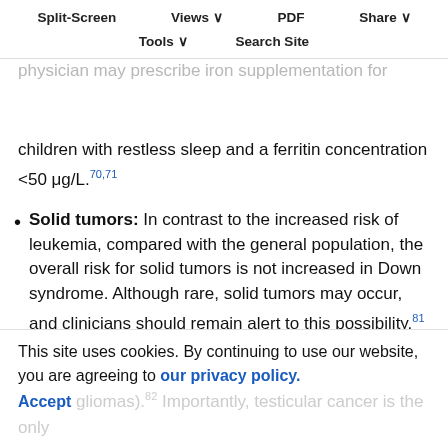Split-Screen  Views  PDF  Share  Tools  Search Site
deficiency may be considered in the differential diagnosis for children with sleep difficulty.70 A physician may prescribe iron supplementation for children with restless sleep and a ferritin concentration <50 μg/L.70,71
Solid tumors: In contrast to the increased risk of leukemia, compared with the general population, the overall risk for solid tumors is not increased in Down syndrome. Although rare, solid tumors may occur, and clinicians should remain alert to this possibility.81 Some are very rare (breast cancers, neuroblastoma, and medulloblastoma), and some
This site uses cookies. By continuing to use our website, you are agreeing to our privacy policy. Accept
gliomas).82 Importantly, testicular cancer is the only